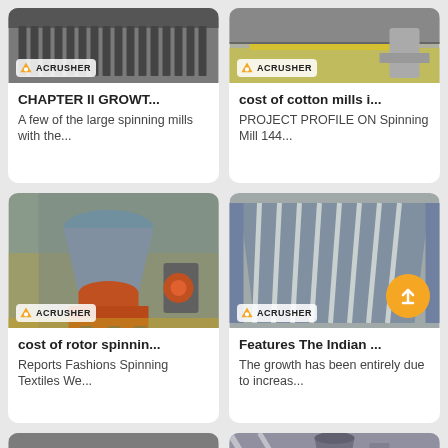[Figure (photo): Industrial crusher machinery parts - metal teeth/grates, Acrusher brand]
CHAPTER II GROWT...
A few of the large spinning mills with the...
[Figure (photo): Industrial machinery - yellow metal bars/conveyor, Acrusher brand]
cost of cotton mills i...
PROJECT PROFILE ON Spinning Mill 144...
[Figure (photo): Large industrial cone crusher machine in factory, Acrusher brand]
cost of rotor spinnin...
Reports Fashions Spinning Textiles We...
[Figure (photo): Industrial metal grate/grid conveyor component, Acrusher brand]
Features The Indian ...
The growth has been entirely due to increas...
[Figure (photo): Industrial machinery with pulleys and belt drive]
[Figure (photo): Industrial crushing tower structure inside factory]